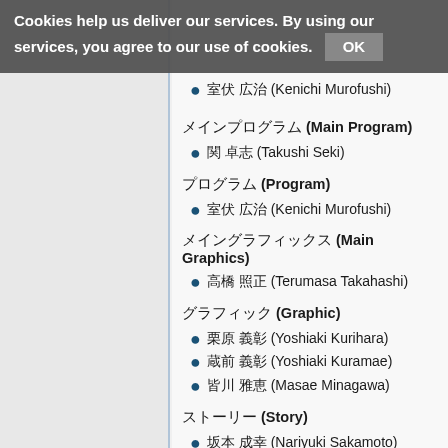Cookies help us deliver our services. By using our services, you agree to our use of cookies. OK
(Kenichi Murofushi)
(Main Program)
(Takushi Seki)
(Program)
(Kenichi Murofushi)
(Main Graphics)
(Terumasa Takahashi)
(Graphic)
(Yoshiaki Kurihara)
(Yoshiaki Kuramae)
(Masae Minagawa)
(Story)
(Nariyuki Sakamoto)
(Sound)